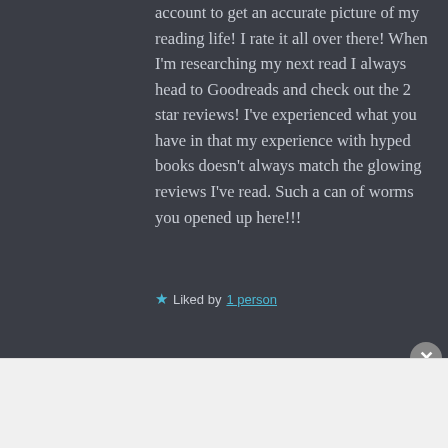account to get an accurate picture of my reading life! I rate it all over there! When I'm researching my next read I always head to Goodreads and check out the 2 star reviews! I've experienced what you have in that my experience with hyped books doesn't always match the glowing reviews I've read. Such a can of worms you opened up here!!!
★ Liked by 1 person
Advertisements
Build a writing habit. Post on the go. GET THE APP